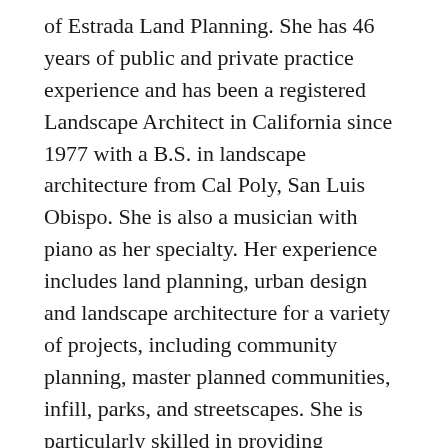of Estrada Land Planning. She has 46 years of public and private practice experience and has been a registered Landscape Architect in California since 1977 with a B.S. in landscape architecture from Cal Poly, San Luis Obispo. She is also a musician with piano as her specialty. Her experience includes land planning, urban design and landscape architecture for a variety of projects, including community planning, master planned communities, infill, parks, and streetscapes. She is particularly skilled in providing community facilitation services and strives to make all of her projects sustainable, context sensitive, unique, and responsive to community and client needs.
Estrada understands diverse community values and natural values as well as the creative and technical aspects of design. Reconnecting with the natural aspects of a site is a key objective on each of her projects. She is also known for developing design solutions that lead to